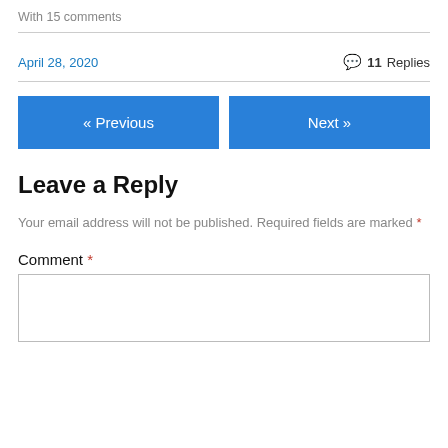With 15 comments
April 28, 2020
11 Replies
« Previous
Next »
Leave a Reply
Your email address will not be published. Required fields are marked *
Comment *